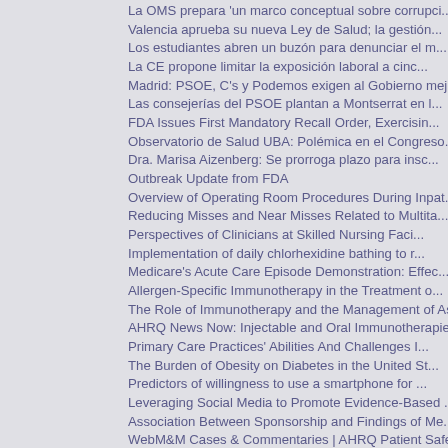La OMS prepara 'un marco conceptual sobre corrupci...
Valencia aprueba su nueva Ley de Salud; la gestión...
Los estudiantes abren un buzón para denunciar el m...
La CE propone limitar la exposición laboral a cinc...
Madrid: PSOE, C's y Podemos exigen al Gobierno mej...
Las consejerías del PSOE plantan a Montserrat en l...
FDA Issues First Mandatory Recall Order, Exercisin...
Observatorio de Salud UBA: Polémica en el Congreso...
Dra. Marisa Aizenberg: Se prorroga plazo para insc...
Outbreak Update from FDA
Overview of Operating Room Procedures During Inpat...
Reducing Misses and Near Misses Related to Multita...
Perspectives of Clinicians at Skilled Nursing Faci...
Implementation of daily chlorhexidine bathing to r...
Medicare's Acute Care Episode Demonstration: Effec...
Allergen-Specific Immunotherapy in the Treatment o...
The Role of Immunotherapy and the Management of As...
AHRQ News Now: Injectable and Oral Immunotherapies...
Primary Care Practices' Abilities And Challenges I...
The Burden of Obesity on Diabetes in the United St...
Predictors of willingness to use a smartphone for ...
Leveraging Social Media to Promote Evidence-Based ...
Association Between Sponsorship and Findings of Me...
WebM&M Cases & Commentaries | AHRQ Patient Safety ...
AHRQ News Now: New AHRQ Views Blog Post – Learning...